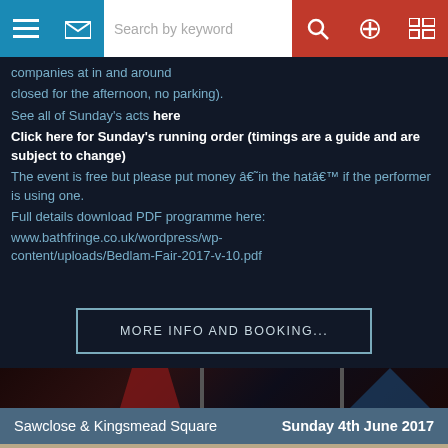[Figure (screenshot): Navigation bar with hamburger menu, mail icon, search box with 'Search by keyword' placeholder, search icon, plus/zoom icon, and grid/news icon]
companies at (streets closed for the afternoon, no parking).
See all of Sunday's acts here
Click here for Sunday's running order (timings are a guide and are subject to change)
The event is free but please put money â€˜in the hatâ€™ if the performer is using one.
Full details download PDF programme here:
www.bathfringe.co.uk/wordpress/wp-content/uploads/Bedlam-Fair-2017-v-10.pdf
[Figure (screenshot): MORE INFO AND BOOKING... button with teal/steel blue border]
[Figure (photo): Dark reddish-brown decorative banner/image strip]
Sawclose & Kingsmead Square	Sunday 4th June 2017
[Figure (photo): Photo of three performers wearing masks and hats (one purple mask, one large straw hat with beak mask, one red beret) in front of a stone wall]